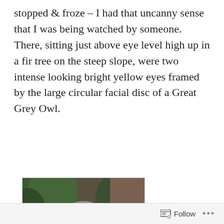stopped & froze – I had that uncanny sense that I was being watched by someone. There, sitting just above eye level high up in a fir tree on the steep slope, were two intense looking bright yellow eyes framed by the large circular facial disc of a Great Grey Owl.
[Figure (photo): A Great Grey Owl perched on a branch, facing forward, with distinctive large circular facial disc and yellow eyes. Background shows green conifer trees and forest floor.]
Follow ...